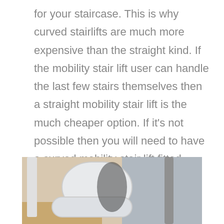for your staircase. This is why curved stairlifts are much more expensive than the straight kind. If the mobility stair lift user can handle the last few stairs themselves then a straight mobility stair lift is the much cheaper option. If it's not possible then you will need to have a curved mobility stair lift fitted.
[Figure (photo): Photo of a stair lift chair, showing a white padded seat and backrest mounted on a staircase rail.]